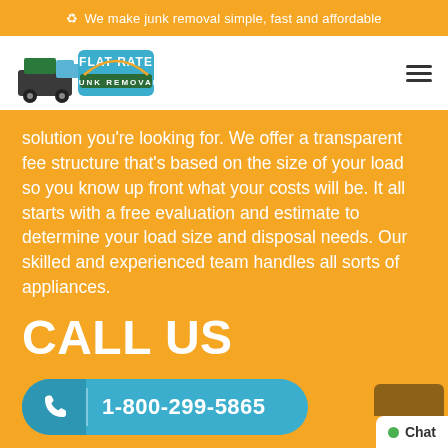We make junk removal simple, fast and affordable
[Figure (logo): Flat Rate Junk Removal logo with truck graphic]
solution you're looking for. We offer a transparent fee structure that's based on the size of your load so you know up front what your costs will be. It all starts with a free evaluation and estimate to determine your load size and disposal needs. Our skilled and experienced team handles all sorts of appliances.
CALL US
1-800-299-5865